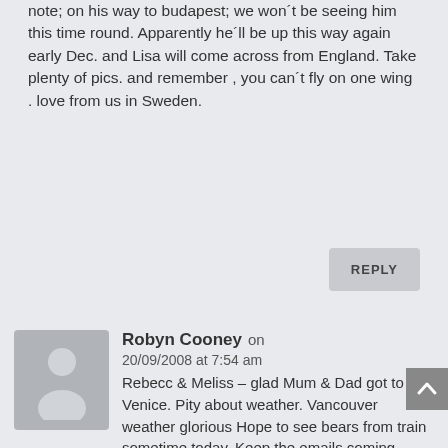note; on his way to budapest; we won´t be seeing him this time round. Apparently he´ll be up this way again early Dec. and Lisa will come across from England. Take plenty of pics. and remember , you can´t fly on one wing . love from us in Sweden.
REPLY
Robyn Cooney on 20/09/2008 at 7:54 am
Rebecc & Meliss – glad Mum & Dad got to Venice. Pity about weather. Vancouver weather glorious Hope to see bears from train sometime today. Keep the emails coming. Auntie Pam